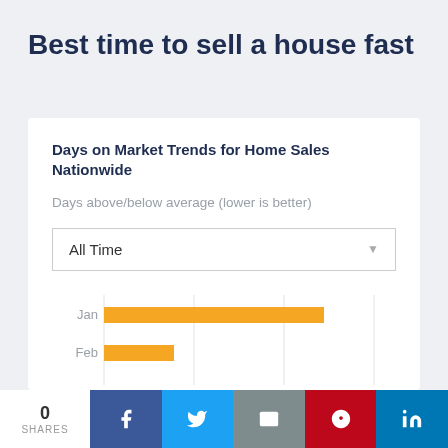Best time to sell a house fast
Days on Market Trends for Home Sales Nationwide
Days above/below average (lower is better)
All Time
[Figure (bar-chart): Days on Market Trends for Home Sales Nationwide]
0 SHARES  f  t  email  p  in